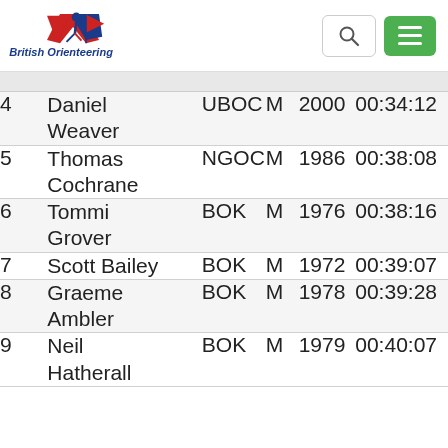[Figure (logo): British Orienteering logo with runner and flag graphic, text 'British Orienteering' in blue]
| # | Name | Club | Gender | Year | Time |
| --- | --- | --- | --- | --- | --- |
| 4 | Daniel Weaver | UBOC | M | 2000 | 00:34:12 |
| 5 | Thomas Cochrane | NGOC | M | 1986 | 00:38:08 |
| 6 | Tommi Grover | BOK | M | 1976 | 00:38:16 |
| 7 | Scott Bailey | BOK | M | 1972 | 00:39:07 |
| 8 | Graeme Ambler | BOK | M | 1978 | 00:39:28 |
| 9 | Neil Hatherall | BOK | M | 1979 | 00:40:07 |